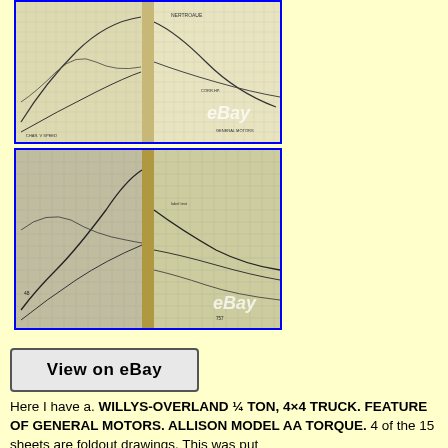[Figure (photo): Top photo of open engineering/technical manual or notebook showing grid paper with handwritten curves and data lines, yellow-cream pages, blue border. eBay watermark visible.]
[Figure (photo): Bottom photo of open engineering/technical manual or notebook showing grid paper with handwritten curves and data lines, yellow-cream pages, blue border. eBay watermark visible.]
[Figure (other): View on eBay button/link graphic with gray background and black border]
Here I have a. WILLYS-OVERLAND ¼ TON, 4×4 TRUCK. FEATURE OF GENERAL MOTORS. ALLISON MODEL AA TORQUE. 4 of the 15 sheets are foldout drawings. This was put